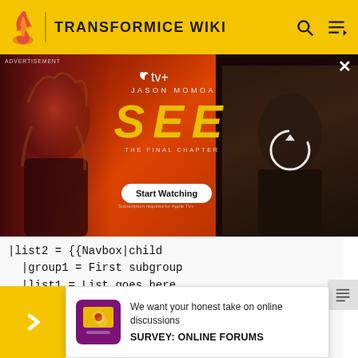TRANSFORMICE WIKI
[Figure (photo): Advertisement banner for Apple TV+ show 'SEE - The Final Chapter' featuring Jason Momoa. Shows Jason Momoa on the left side against fiery red background, the SEE logo in large yellow italic letters, a 'Start Watching' button, and a loading thumbnail on the right side.]
|list2 = {{Navbox|child
  |group1 = First subgroup
  |list1 = List goes here
  |group2 = Second...
  |list2 = Another list
  |image = [[File:Example.jpg|48px]] <!-- An
  |a                                     art
  }}
  }}
We want your honest take on online discussions
SURVEY: ONLINE FORUMS